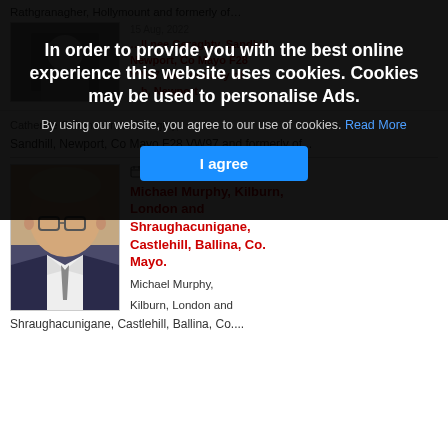Rathgranagher, Hollymount and formerly of...
[Figure (photo): Partial photo of a person, partially obscured by cookie overlay]
nee Geraghty, Sandhill, Newport, Co Mayo F28 VW97 and formerly of...
Catherine O Donnel nee Geraghty,
Sandhill, Newport, Co Mayo F28 VW97 and formerly of...
[Figure (photo): Portrait photo of an elderly man wearing glasses and a suit with a tie]
Aug 17, 2022
Michael Murphy, Kilburn, London and Shraughacunigane, Castlehill, Ballina, Co. Mayo.
Michael Murphy,
Kilburn, London and
Shraughacunigane, Castlehill, Ballina, Co....
In order to provide you with the best online experience this website uses cookies. Cookies may be used to personalise Ads.
By using our website, you agree to our use of cookies. Read More
I agree